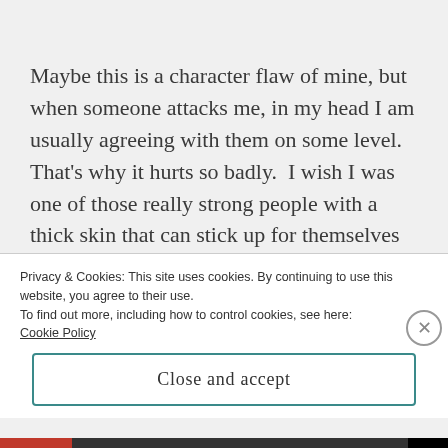Maybe this is a character flaw of mine, but when someone attacks me, in my head I am usually agreeing with them on some level.  That's why it hurts so badly.  I wish I was one of those really strong people with a thick skin that can stick up for themselves and not let harmful words permeate and paralyze them; but I am not.  Never have been, guess I never will be...I have
Privacy & Cookies: This site uses cookies. By continuing to use this website, you agree to their use.
To find out more, including how to control cookies, see here:
Cookie Policy
Close and accept